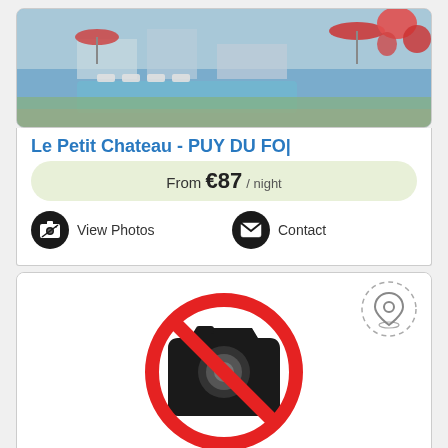[Figure (photo): Hotel swimming pool area with outdoor seating, umbrellas and flowers]
Le Petit Chateau - PUY DU FO
From €87 / night
View Photos
Contact
[Figure (illustration): No photo available placeholder: red circle with diagonal line over a black camera icon]
[Figure (illustration): Location pin icon with dashed circle]
Le Petit Cha...